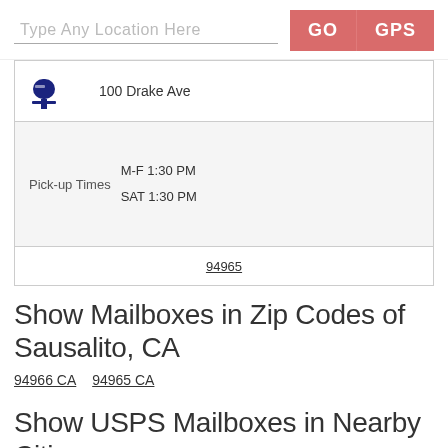Type Any Location Here  GO  GPS
100 Drake Ave
| Pick-up Times | Schedule |
| --- | --- |
| Pick-up Times | M-F 1:30 PM
SAT 1:30 PM |
94965
Show Mailboxes in Zip Codes of Sausalito, CA
94966 CA  94965 CA
Show USPS Mailboxes in Nearby Cities
Belmont, CA  Santa Monica, CA  Pine Grove, CA